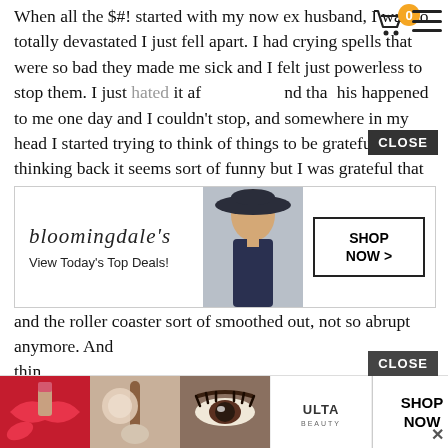When all the $#! started with my now ex husband, I was so totally devastated I just fell apart. I had crying spells that were so bad they made me sick and I felt just powerless to stop them. I just hated it after and that... this happened to me one day and I couldn't stop, and somewhere in my head I started trying to think of things to be grateful for, thinking back it seems sort of funny but I was grateful that no one was there to see these attacks, then I was grateful I had a nice stash of tissue paper, and a trash can to put them in and after a bit of that I realized I had stopped crying. So, yes, that was my proof and after that time it seemed like the melt downs got farther apart and they weren't so intense and the roller coaster sort of smoothed out, not so abrupt anymore. And I can think... gra...
[Figure (other): Bloomingdale's advertisement banner with logo, tagline 'View Today's Top Deals!', model photo, and 'SHOP NOW >' button]
[Figure (other): Ulta Beauty advertisement banner with cosmetic product images, Ulta logo, and 'SHOP NOW' button]